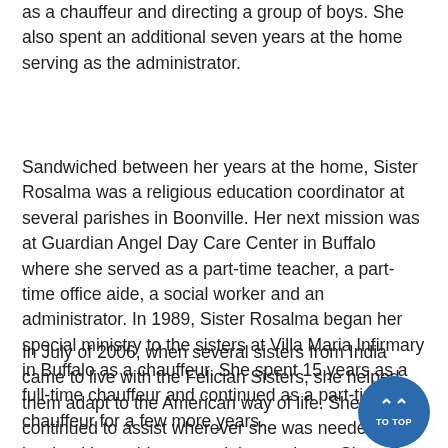as a chauffeur and directing a group of boys. She also spent an additional seven years at the home serving as the administrator.
Sandwiched between her years at the home, Sister Rosalma was a religious education coordinator at several parishes in Boonville. Her next mission was at Guardian Angel Day Care Center in Buffalo where she served as a part-time teacher, a part-time office aide, a social worker and an administrator. In 1989, Sister Rosalma began her special ministry to the sisters at Villa Maria Infirmary in Buffalo as a chauffeur. She spent 15 years as a full-time chauffeur and continued as a part-time chauffeur for a few more years.
In July of 2006, when several sisters from India came to live with the Felician Sisters, she helped them adapt to the American way of life. She continued to assist wherever she was needed until her health would not permit her to do so. Sister Ro...